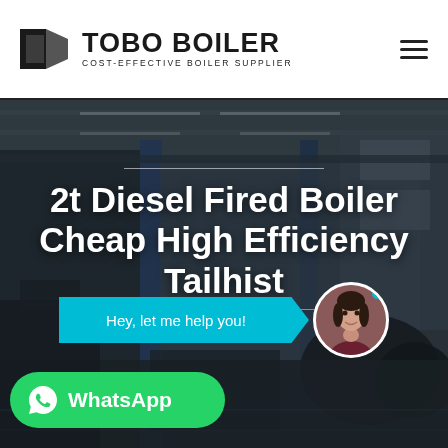TOBO BOILER - COST-EFFECTIVE BOILER SUPPLIER
[Figure (photo): Industrial boiler manufacturing facility interior, dark moody background with heavy machinery, cranes, and large metal structures]
2t Diesel Fired Boiler Cheap High Efficiency Tailhist
Hey, let me help you!
[Figure (photo): Customer service avatar - young Asian woman smiling, circular portrait photo]
WhatsApp